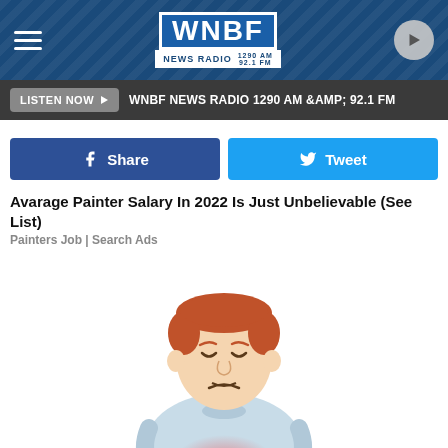WNBF NEWS RADIO 1290 AM & 92.1 FM
LISTEN NOW ▶  WNBF NEWS RADIO 1290 AM &AMP; 92.1 FM
f Share   🐦 Tweet
Avarage Painter Salary In 2022 Is Just Unbelievable (See List)
Painters Job | Search Ads
[Figure (illustration): Cartoon illustration of a sad man with red hair, wearing a light blue long-sleeve shirt, holding his stomach in pain with a reddish glow at the abdomen area, looking distressed with eyes closed and frowning.]